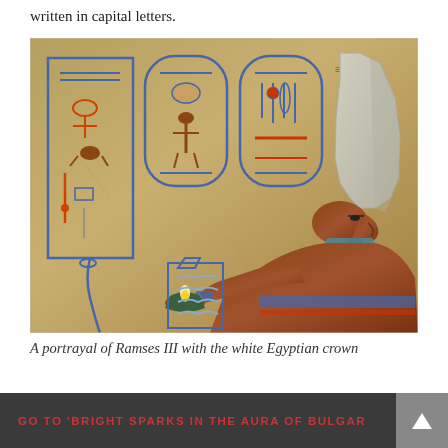written in capital letters.
[Figure (photo): A photograph of an ancient Egyptian wall relief showing Ramses III depicted in profile, holding an offering bowl, wearing the white Atef crown. Hieroglyphic cartouches are visible on the sandstone wall behind him.]
A portrayal of Ramses III with the white Egyptian crown
GO TO 'BRIGHT SPARKS IN THE AURA OF BULGAR…NT